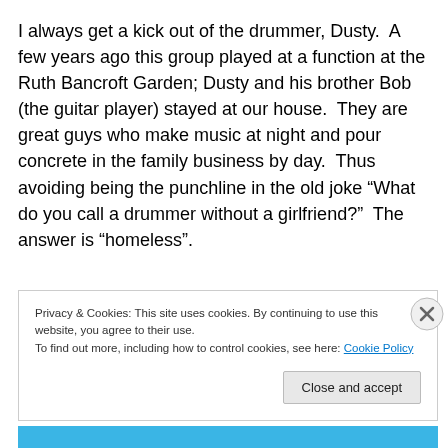I always get a kick out of the drummer, Dusty.  A few years ago this group played at a function at the Ruth Bancroft Garden; Dusty and his brother Bob (the guitar player) stayed at our house.  They are great guys who make music at night and pour concrete in the family business by day.  Thus avoiding being the punchline in the old joke “What do you call a drummer without a girlfriend?”  The answer is “homeless”.
Privacy & Cookies: This site uses cookies. By continuing to use this website, you agree to their use.
To find out more, including how to control cookies, see here: Cookie Policy